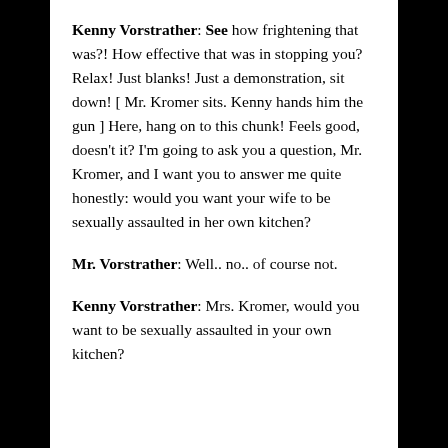Kenny Vorstrather: See how frightening that was?! How effective that was in stopping you? Relax! Just blanks! Just a demonstration, sit down! [ Mr. Kromer sits. Kenny hands him the gun ] Here, hang on to this chunk! Feels good, doesn't it? I'm going to ask you a question, Mr. Kromer, and I want you to answer me quite honestly: would you want your wife to be sexually assaulted in her own kitchen?
Mr. Vorstrather: Well.. no.. of course not.
Kenny Vorstrather: Mrs. Kromer, would you want to be sexually assaulted in your own kitchen?